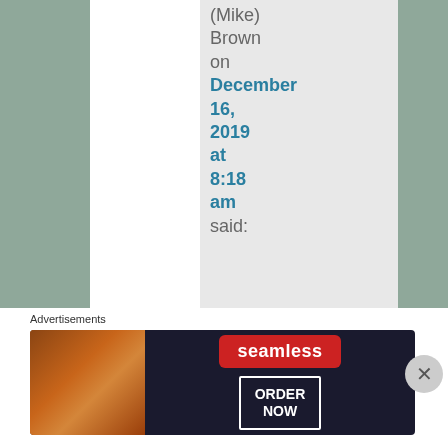(Mike) Brown on December 16, 2019 at 8:18 am said:
Dennis – I wondere
Advertisements
[Figure (screenshot): Seamless food delivery advertisement banner with pizza image on left, Seamless logo in red, and ORDER NOW button on right, on dark background]